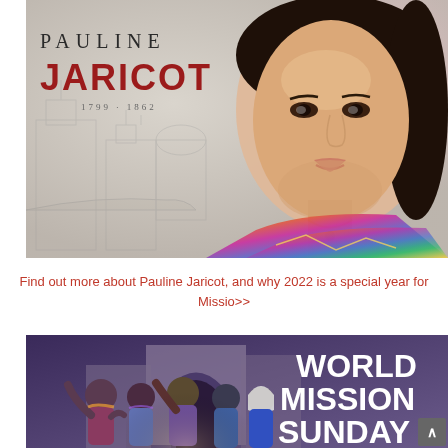[Figure (illustration): Portrait illustration of Pauline Jaricot with text 'PAULINE JARICOT 1799–1862' overlaid on a grey historical background with architectural sketches. The subject is a young woman with dark hair wearing colorful clothing.]
Find out more about Pauline Jaricot, and why 2022 is a special year for Missio>>
[Figure (photo): Photo of a group of women in colorful clothing waving and smiling at the entrance of a building, with bold white text reading 'WORLD MISSION SUNDAY' on the right side.]